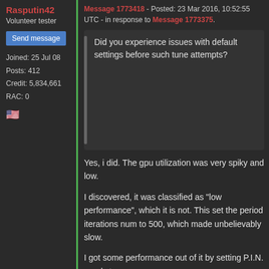Rasputin42
Volunteer tester
Send message
Joined: 25 Jul 08
Posts: 412
Credit: 5,834,661
RAC: 0
[Figure (illustration): US flag emoji]
Message 1773418 - Posted: 23 Mar 2016, 10:52:55 UTC - in response to Message 1773375.
Did you experience issues with default settings before such tune attempts?
Yes, i did. The gpu utilization was very spiky and low.

I discovered, it was classified as "low performance", which it is not. This set the period iterations num to 500, which made unbelievably slow.

I got some performance out of it by setting P.I.N. nearly to zero.